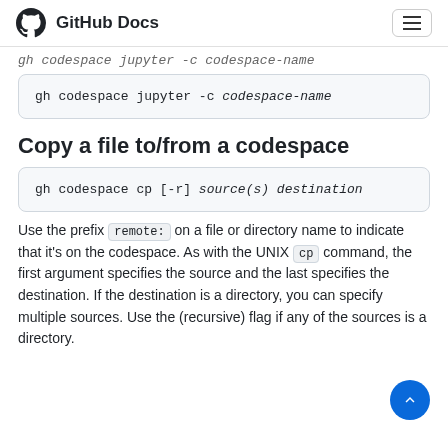GitHub Docs
gh codespace jupyter -c codespace-name
Copy a file to/from a codespace
gh codespace cp [-r] source(s) destination
Use the prefix remote: on a file or directory name to indicate that it's on the codespace. As with the UNIX cp command, the first argument specifies the source and the last specifies the destination. If the destination is a directory, you can specify multiple sources. Use the (recursive) flag if any of the sources is a directory.